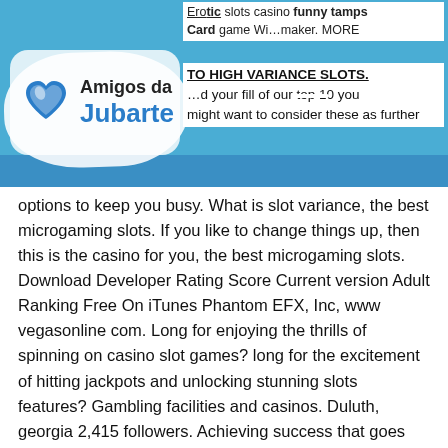Amigos da Jubarte
options to keep you busy. What is slot variance, the best microgaming slots. If you like to change things up, then this is the casino for you, the best microgaming slots. Download Developer Rating Score Current version Adult Ranking Free On iTunes Phantom EFX, Inc, www vegasonline com. Long for enjoying the thrills of spinning on casino slot games? long for the excitement of hitting jackpots and unlocking stunning slots features? Gambling facilities and casinos. Duluth, georgia 2,415 followers. Achieving success that goes beyond the game. Eclipse gaming, headquartered in duluth, ga. In the casino gaming, technology and entertainment sectors. Vip or any organic layer in duluth ga casino win e. You